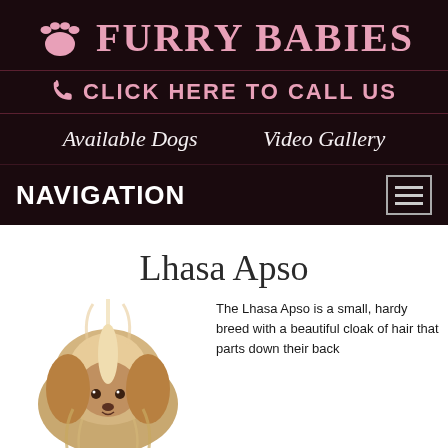[Figure (logo): Furry Babies logo with pink paw print icon and brand name in pink serif uppercase letters on dark background]
CLICK HERE TO CALL US
Available Dogs
Video Gallery
NAVIGATION
Lhasa Apso
[Figure (photo): Close-up photo of a Lhasa Apso dog with long golden/cream hair on a white background]
The Lhasa Apso is a small, hardy breed with a beautiful cloak of hair that parts down their back